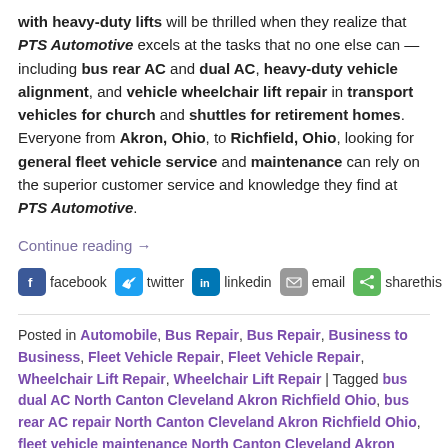with heavy-duty lifts will be thrilled when they realize that PTS Automotive excels at the tasks that no one else can — including bus rear AC and dual AC, heavy-duty vehicle alignment, and vehicle wheelchair lift repair in transport vehicles for church and shuttles for retirement homes. Everyone from Akron, Ohio, to Richfield, Ohio, looking for general fleet vehicle service and maintenance can rely on the superior customer service and knowledge they find at PTS Automotive.
Continue reading →
[Figure (infographic): Social share bar with icons for facebook, twitter, linkedin, email, sharethis]
Posted in Automobile, Bus Repair, Bus Repair, Business to Business, Fleet Vehicle Repair, Fleet Vehicle Repair, Wheelchair Lift Repair, Wheelchair Lift Repair | Tagged bus dual AC North Canton Cleveland Akron Richfield Ohio, bus rear AC repair North Canton Cleveland Akron Richfield Ohio, fleet vehicle maintenance North Canton Cleveland Akron Richfield Ohio, full-service auto center North Canton Cleveland Akron Richfield Ohio, general fleet